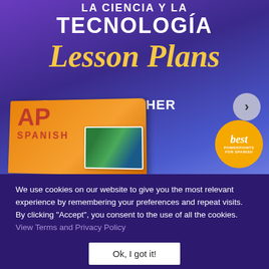[Figure (illustration): Promotional banner for AP Spanish Tecnología Lesson Plans for Vista Higher Learning. Purple/blue gradient background with white bold text reading TECNOLOGÍA and FOR VISTA HIGHER LEARNING, golden italic script text reading Lesson Plans, an orange AP Spanish textbook in the lower left, a circular orange badge with cursive text 'best POWERPOINTS FOR SPANISH', and a grey circular navigation arrow on the right.]
We use cookies on our website to give you the most relevant experience by remembering your preferences and repeat visits. By clicking "Accept", you consent to the use of all the cookies. View Terms and Privacy Policy
Ok, I got it!